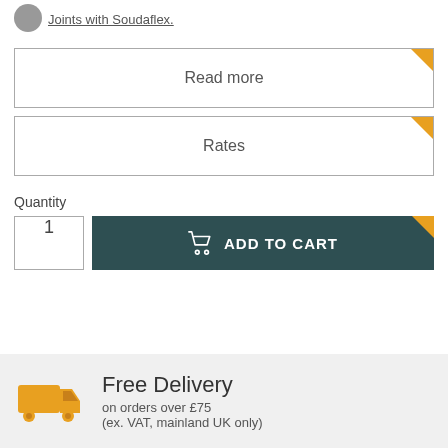Joints with Soudaflex.
Read more
Rates
Quantity
1
ADD TO CART
Free Delivery
on orders over £75
(ex. VAT, mainland UK only)